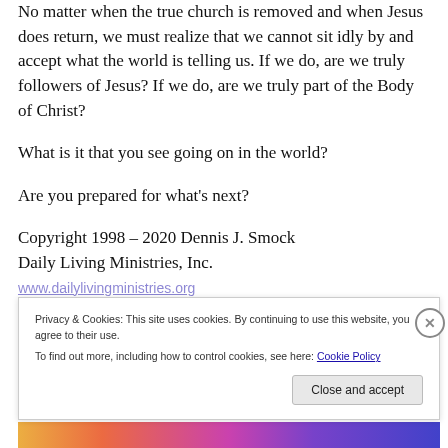No matter when the true church is removed and when Jesus does return, we must realize that we cannot sit idly by and accept what the world is telling us. If we do, are we truly followers of Jesus? If we do, are we truly part of the Body of Christ?
What is it that you see going on in the world?
Are you prepared for what’s next?
Copyright 1998 – 2020 Dennis J. Smock
Daily Living Ministries, Inc.
Privacy & Cookies: This site uses cookies. By continuing to use this website, you agree to their use.
To find out more, including how to control cookies, see here: Cookie Policy
Close and accept